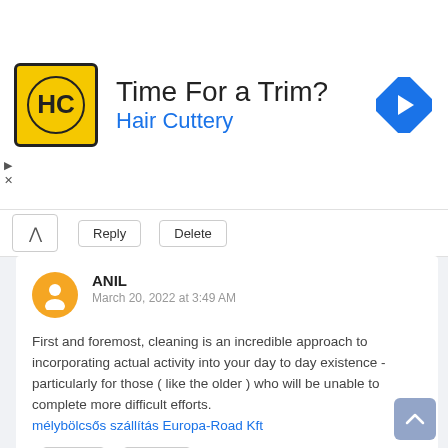[Figure (infographic): Advertisement banner for Hair Cuttery with logo, headline 'Time For a Trim?', subline 'Hair Cuttery', and a blue arrow icon on the right.]
Reply   Delete
ANIL
March 20, 2022 at 3:49 AM

First and foremost, cleaning is an incredible approach to incorporating actual activity into your day to day existence - particularly for those ( like the older ) who will be unable to complete more difficult efforts.
mélybölcsős szállítás Europa-Road Kft

Reply   Delete
4 LIE
March 23, 2022 at 6:01 AM

I discovered your site web site on bing and appearance a few of your early posts. Maintain inside...